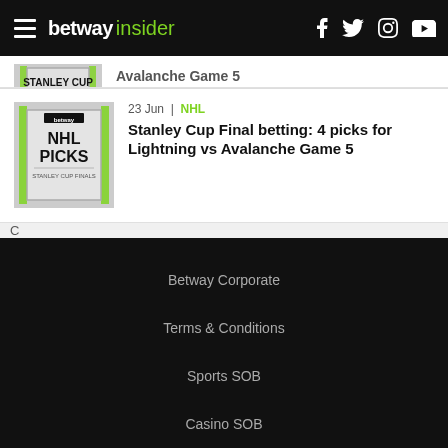betway insider
[Figure (photo): Partially visible NHL Picks Stanley Cup Finals article thumbnail (cropped at top)]
Avalanche Game 5
[Figure (photo): NHL Picks Stanley Cup Finals book/card image thumbnail]
23 Jun | NHL
Stanley Cup Final betting: 4 picks for Lightning vs Avalanche Game 5
C
Betway Corporate
Terms & Conditions
Sports SOB
Casino SOB